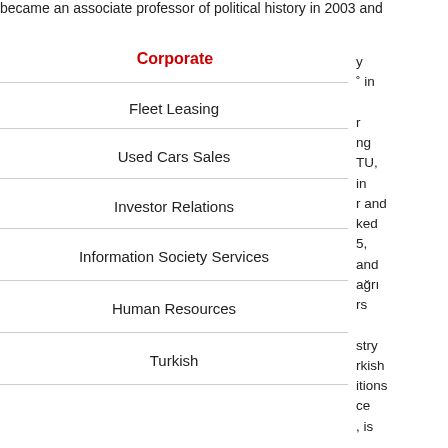became an associate professor of political history in 2003 and
Corporate
Fleet Leasing
Used Cars Sales
Investor Relations
Information Society Services
Human Resources
Turkish